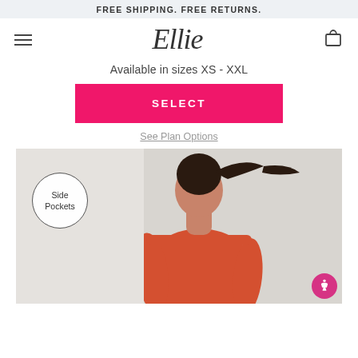FREE SHIPPING. FREE RETURNS.
[Figure (logo): Ellie script logo with hamburger menu icon and shopping bag icon]
Available in sizes XS - XXL
SELECT
See Plan Options
[Figure (photo): Woman wearing an orange/red athletic t-shirt shown from behind with a ponytail, with a circular badge overlay reading 'Side Pockets']